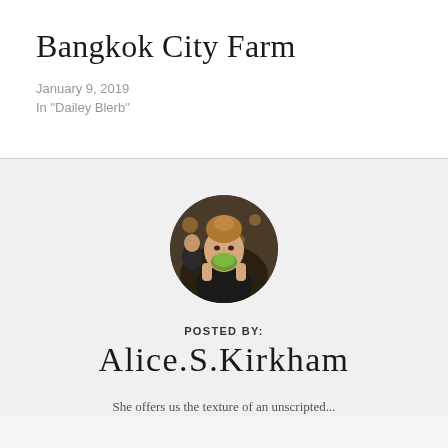Bangkok City Farm
January 9, 2019
In "Dailey Blerb"
[Figure (photo): Circular avatar photo of Alice S. Kirkham, a young woman holding a green fruit up to her face, photographed at night in a busy setting.]
POSTED BY:
Alice.S.Kirkham
She offers us the texture of an unscripted...